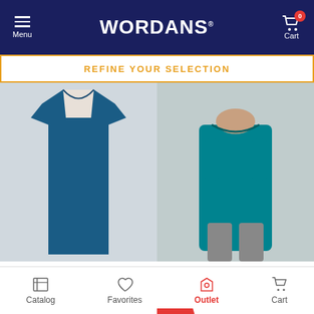[Figure (screenshot): Wordans e-commerce website header with navy background, hamburger menu icon labeled 'Menu' on left, WORDANS logo in center, cart icon with 0 badge labeled 'Cart' on right]
REFINE YOUR SELECTION
[Figure (photo): Starworld SW36N Men's Sports T-Shirt in dark teal/navy color on mannequin]
Starworld SW36N - Men's Sports T-Shirt
20.92 kr
-50%
42.03 kr
[Figure (photo): Starworld SW304 Men's Performance T-Shirt in teal/turquoise color worn by male model]
Starworld SW304 - Men's Performance T-Shirt
25.40 kr
-51%
51.54 kr
[Figure (photo): Product thumbnail showing navy polo shirt with 48h delivery badge and Best Price ribbon]
[Figure (photo): Product thumbnail showing black t-shirt with 48h delivery badge]
[Figure (screenshot): Bottom navigation bar with Catalog, Favorites, Outlet (active/red), and Cart icons]